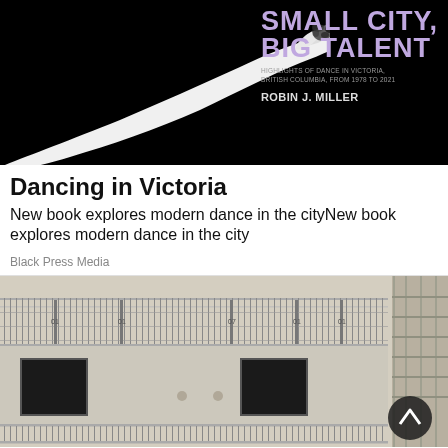[Figure (photo): Book cover for 'Small City, Big Talent: Highlights of Dance in Victoria, British Columbia, from 1978 to 2021' by Robin J. Miller, overlaid on a black background with a dancer's white arm and hand silhouette]
Dancing in Victoria
New book explores modern dance in the cityNew book explores modern dance in the city
Black Press Media
[Figure (photo): Exterior of a modern apartment building with balconies featuring metal railings, multiple floors visible, grey facade, and construction scaffolding on the right side]